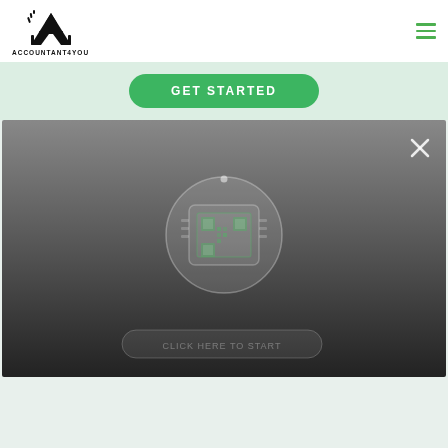ACCOUNTANT4YOU
[Figure (logo): Accountant4You logo with stylized A graphic and text ACCOUNTANT4YOU beneath]
[Figure (screenshot): A darkened video/modal overlay with a circular icon containing a QR/chip graphic in the center, and an X close button in the top right corner. A faint button shape is visible at the bottom center.]
GET STARTED